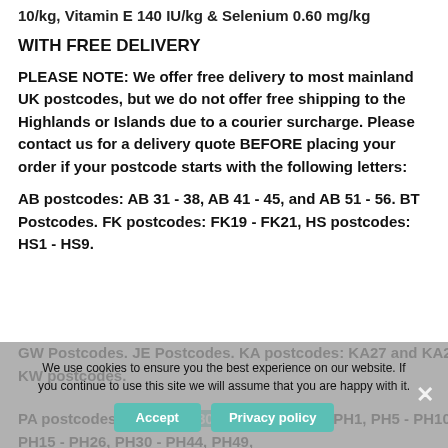10/kg, Vitamin E 140 IU/kg & Selenium 0.60 mg/kg
WITH FREE DELIVERY
PLEASE NOTE: We offer free delivery to most mainland UK postcodes, but we do not offer free shipping to the Highlands or Islands due to a courier surcharge. Please contact us for a delivery quote BEFORE placing your order if your postcode starts with the following letters:
AB postcodes: AB 31 - 38, AB 41 - 45, and AB 51 - 56. BT Postcodes. FK postcodes: FK19 - FK21, HS postcodes: HS1 - HS9.
GW Postcodes. JE Postcodes. KA postcodes: KA27 and KA28. KW postcodes.
PA postcodes: PA20 - PA80. PH postcodes: PH1, PH5 - PH10, PH15 - PH26, PH30 - PH44, PH49,